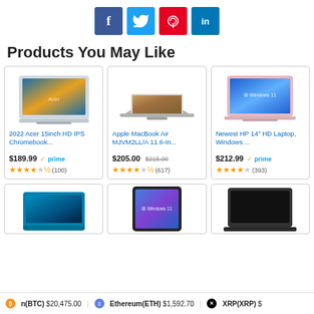[Figure (infographic): Social media share buttons: Facebook (blue), Twitter (light blue), Pinterest (red), LinkedIn (blue)]
Products You May Like
| 2022 Acer 15inch HD IPS Chromebook... | $189.99 prime | ★★★★½ (100) |
| Apple MacBook Air MJVM2LL/A 11.6-In... | $205.00 $215.00 | ★★★★½ (617) |
| Newest HP 14" HD Laptop, Windows ... | $212.99 prime | ★★★★☆ (393) |
[Figure (photo): Bottom row of product cards: a teal convertible laptop, a tablet showing Windows 11, and a dark laptop - partially visible]
Bitcoin(BTC) $20,475.00   Ethereum(ETH) $1,592.70   XRP(XRP) $